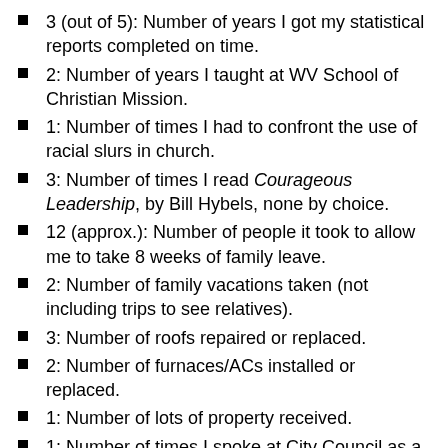3 (out of 5): Number of years I got my statistical reports completed on time.
2: Number of years I taught at WV School of Christian Mission.
1: Number of times I had to confront the use of racial slurs in church.
3: Number of times I read Courageous Leadership, by Bill Hybels, none by choice.
12 (approx.): Number of people it took to allow me to take 8 weeks of family leave.
2: Number of family vacations taken (not including trips to see relatives).
3: Number of roofs repaired or replaced.
2: Number of furnaces/ACs installed or replaced.
1: Number of lots of property received.
1: Number of times I spoke at City Council as a clergy.
3: Number of Letters to the Editor written.
133: Number of blog posts on this version of my